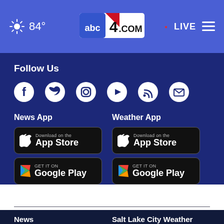84° abc4.com LIVE
Follow Us
[Figure (illustration): Social media icons: Facebook, Twitter, Instagram, YouTube, RSS, Email]
News App
[Figure (screenshot): Download on the App Store badge]
[Figure (screenshot): Get it on Google Play badge]
Weather App
[Figure (screenshot): Download on the App Store badge]
[Figure (screenshot): Get it on Google Play badge]
News
Salt Lake City Weather
TV Schedule
Contests